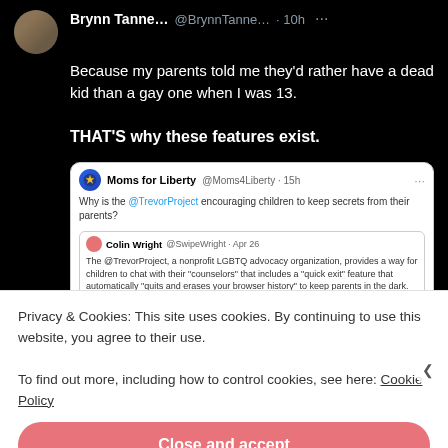[Figure (screenshot): Screenshot of a Twitter/X post by Brynn Tanne... (@BrynnTanne... · 10h) on a dark background. The post reads: 'Because my parents told me they'd rather have a dead kid than a gay one when I was 13. THAT'S why these features exist.' It contains a quoted tweet from Moms for Liberty (@Moms4Liberty · 15h) asking 'Why is the @TrevorProject encouraging children to keep secrets from their parents?' which itself quotes a tweet from Colin Wright (@SwipeWright · Apr 26) about the TrevorProject providing a 'quick exit' feature that erases browser history, with attached comic strip images.]
Privacy & Cookies: This site uses cookies. By continuing to use this website, you agree to their use.
To find out more, including how to control cookies, see here: Cookie Policy
Close and accept